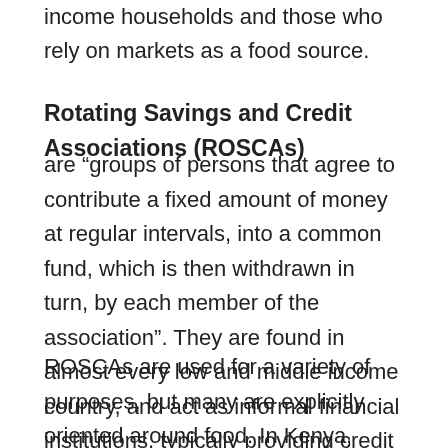income households and those who rely on markets as a food source.
Rotating Savings and Credit Associations (ROSCAs)
are “groups of persons that agree to contribute a fixed amount of money at regular intervals, into a common fund, which is then withdrawn in turn, by each member of the association”. They are found in almost every low and middle income country, and act as informal financial institutions, typically providing credit to low-income consumers that often do not have access to more formal financial services.
ROSCAs are used for a variety of purposes, but many are explicitly oriented around food. In Kenya, these started as small ‘chamas’, a network of women who pool resources and buy each other food items on a